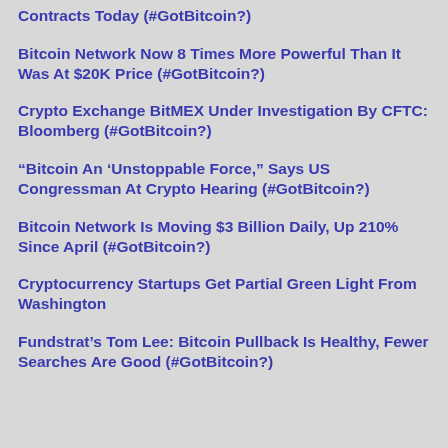Contracts Today (#GotBitcoin?)
Bitcoin Network Now 8 Times More Powerful Than It Was At $20K Price (#GotBitcoin?)
Crypto Exchange BitMEX Under Investigation By CFTC: Bloomberg (#GotBitcoin?)
“Bitcoin An ‘Unstoppable Force,” Says US Congressman At Crypto Hearing (#GotBitcoin?)
Bitcoin Network Is Moving $3 Billion Daily, Up 210% Since April (#GotBitcoin?)
Cryptocurrency Startups Get Partial Green Light From Washington
Fundstrat’s Tom Lee: Bitcoin Pullback Is Healthy, Fewer Searches Are Good (#GotBitcoin?)